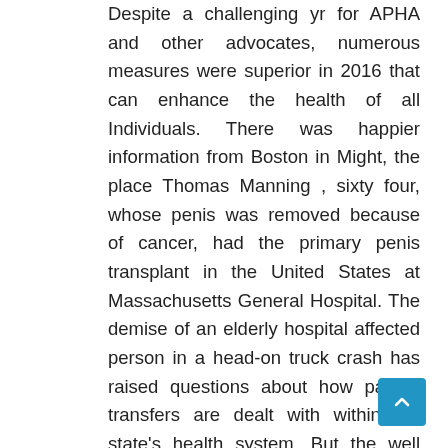Despite a challenging yr for APHA and other advocates, numerous measures were superior in 2016 that can enhance the health of all Individuals. There was happier information from Boston in Might, the place Thomas Manning , sixty four, whose penis was removed because of cancer, had the primary penis transplant in the United States at Massachusetts General Hospital. The demise of an elderly hospital affected person in a head-on truck crash has raised questions about how patient transfers are dealt with within the state's health system. But the well being risks are so nice that specialists estimate they're equal to gaining 100 kilos (to not point out the impact on growing older your pores and skin).
The problem of such an arrangement is the lose of control of administering Healthcare in its personal yard and Washington controls all what happens with the Well being Plans and the Health Exchanges promoting …